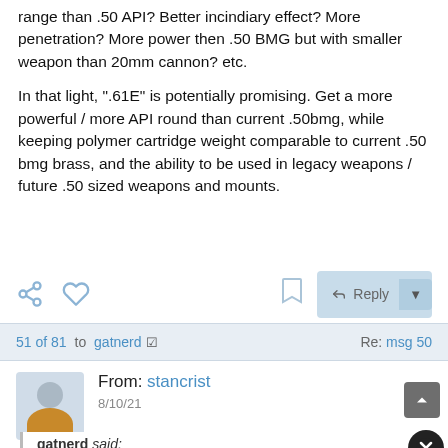range than .50 API? Better incindiary effect? More penetration? More power then .50 BMG but with smaller weapon than 20mm cannon? etc.
In that light, ".61E" is potentially promising. Get a more powerful / more API round than current .50bmg, while keeping polymer cartridge weight comparable to current .50 bmg brass, and the ability to be used in legacy weapons / future .50 sized weapons and mounts.
51 of 81 to gatnerd ⊙   Re: msg 50
From: stancrist
8/10/21
gatnerd said:
Thats certainly the ideal...
Perhaps I am missing something.  How is it "ideal" to design a cartridge in complete disregard for weapon characteristics li...